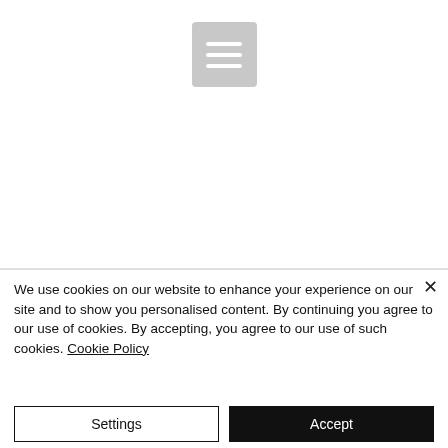[Figure (screenshot): Hamburger menu icon — a grey rounded square with three white horizontal lines]
We use cookies on our website to enhance your experience on our site and to show you personalised content. By continuing you agree to our use of cookies. By accepting, you agree to our use of such cookies. Cookie Policy
Settings
Accept